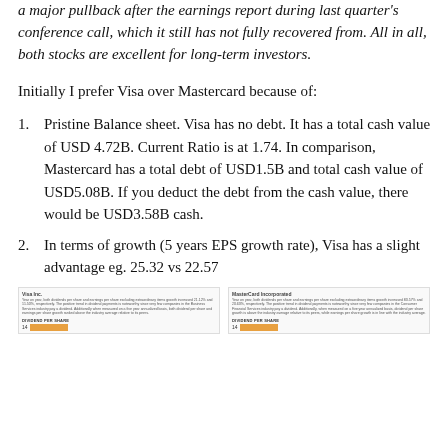a major pullback after the earnings report during last quarter's conference call, which it still has not fully recovered from. All in all, both stocks are excellent for long-term investors.
Initially I prefer Visa over Mastercard because of:
Pristine Balance sheet. Visa has no debt. It has a total cash value of USD 4.72B. Current Ratio is at 1.74. In comparison, Mastercard has a total debt of USD1.5B and total cash value of USD5.08B. If you deduct the debt from the cash value, there would be USD3.58B cash.
In terms of growth (5 years EPS growth rate), Visa has a slight advantage eg. 25.32 vs 22.57
[Figure (screenshot): Two side-by-side thumbnail screenshots of financial data cards for Visa Inc. and MasterCard Incorporated showing dividend per share information with orange bar charts.]